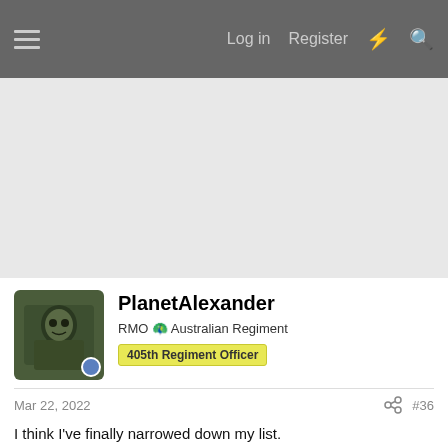Log in  Register
[Figure (photo): User avatar photo of PlanetAlexander showing a person with camouflage gear in a green/natural setting]
PlanetAlexander
RMO 🎖 Australian Regiment  405th Regiment Officer
Mar 22, 2022  #36
I think I've finally narrowed down my list.
Con:
1. Water
2. Duct tape
3. Museli bar